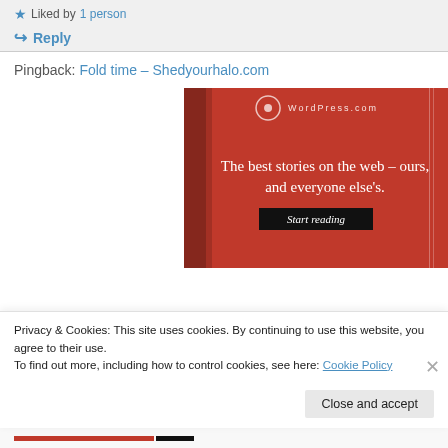★ Liked by 1 person
↪ Reply
Pingback: Fold time – Shedyourhalo.com
[Figure (advertisement): Red WordPress.com advertisement banner with white serif text reading 'The best stories on the web – ours, and everyone else's.' with a black 'Start reading' button]
Privacy & Cookies: This site uses cookies. By continuing to use this website, you agree to their use.
To find out more, including how to control cookies, see here: Cookie Policy
Close and accept